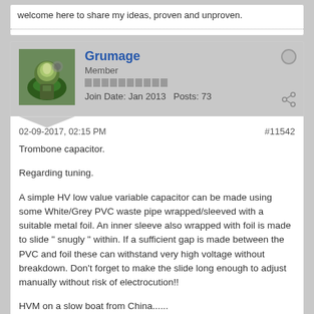welcome here to share my ideas, proven and unproven.
Grumage
Member
Join Date: Jan 2013   Posts: 73
02-09-2017, 02:15 PM
#11542
Trombone capacitor.

Regarding tuning.

A simple HV low value variable capacitor can be made using some White/Grey PVC waste pipe wrapped/sleeved with a suitable metal foil. An inner sleeve also wrapped with foil is made to slide " snugly " within. If a sufficient gap is made between the PVC and foil these can withstand very high voltage without breakdown. Don't forget to make the slide long enough to adjust manually without risk of electrocution!!

HVM on a slow boat from China......

Cheers Graham.